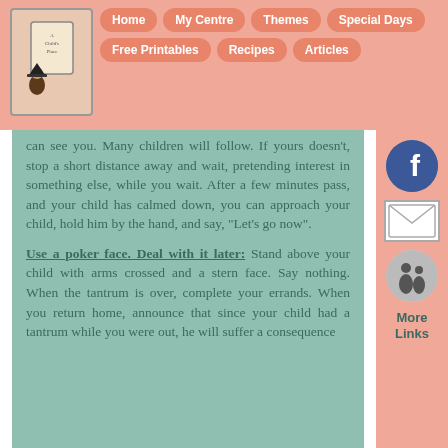Home | My Centre | Themes | Special Days | Free Printables | Recipes | Articles
can see you. Many children will follow. If yours doesn't, stop a short distance away and wait, pretending interest in something else, while you wait. After a few minutes pass, and your child has calmed down, you can approach your child, hold him by the hand, and say, "Let's go now".
Use a poker face. Deal with it later: Stand above your child with arms crossed and a stern face. Say nothing. When the tantrum is over, complete your errands. When you return home, announce that since your child had a tantrum while you were out, he will suffer a consequence
[Figure (logo): A Child's Place logo with illustrated character holding a sign]
[Figure (logo): Facebook icon - circular blue button with F]
[Figure (photo): Email/mail envelope icon]
[Figure (photo): Black and white photo of children]
More Links